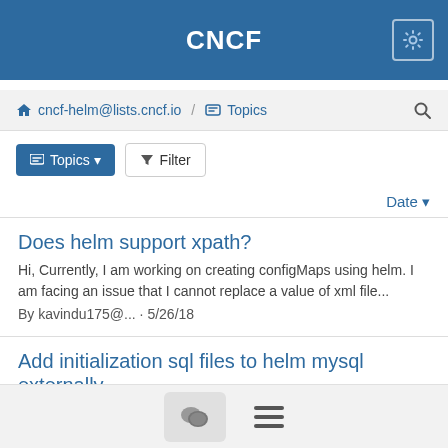CNCF
cncf-helm@lists.cncf.io / Topics
Topics ▾   Filter
Date ▾
Does helm support xpath?
Hi, Currently, I am working on creating configMaps using helm. I am facing an issue that I cannot replace a value of xml file...
By kavindu175@... · 5/26/18
Add initialization sql files to helm mysql externally
Hi, I want to deploy the mysql using helm which is mentions as this link. It is mentioned that if we want to add sql file as...
By kavindu175@... · 5/26/18